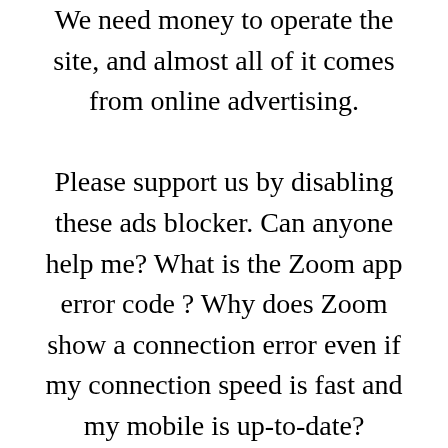We need money to operate the site, and almost all of it comes from online advertising. Please support us by disabling these ads blocker. Can anyone help me? What is the Zoom app error code ? Why does Zoom show a connection error even if my connection speed is fast and my mobile is up-to-date? Pls, help? How do I fix error code on the Zoom app? The most common Zoom issue is being unable to connect to a meeting. Though the Zoom client itself may load fine, you will